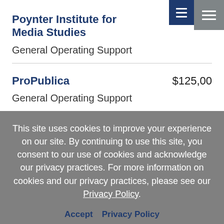Poynter Institute for Media Studies — $100,00
General Operating Support
ProPublica — $125,00
General Operating Support
This site uses cookies to improve your experience on our site. By continuing to use this site, you consent to our use of cookies and acknowledge our privacy practices. For more information on cookies and our privacy practices, please see our Privacy Policy.
Accept  Privacy Policy